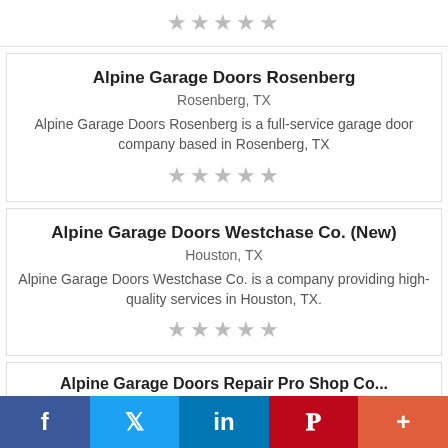[Figure (other): Five gray star rating icons]
Alpine Garage Doors Rosenberg
Rosenberg, TX
Alpine Garage Doors Rosenberg is a full-service garage door company based in Rosenberg, TX
[Figure (other): Five gray star rating icons]
Alpine Garage Doors Westchase Co. (New)
Houston, TX
Alpine Garage Doors Westchase Co. is a company providing high-quality services in Houston, TX.
[Figure (other): Five gray star rating icons]
Alpine Garage Doors Repair Pro Shop Co...
f  Twitter  in  Pinterest  +